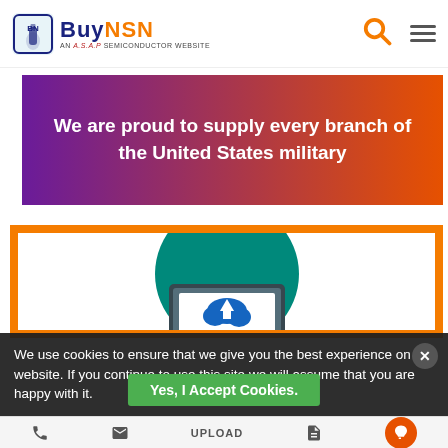BuyNSN — AN A.S.A.P SEMICONDUCTOR WEBSITE
We are proud to supply every branch of the United States military
[Figure (illustration): Upload/cloud icon illustration inside orange-bordered white card — teal circle background with a laptop showing a blue cloud upload icon]
We use cookies to ensure that we give you the best experience on our website. If you continue to use this site we will assume that you are happy with it.
Yes, I Accept Cookies.
UPLOAD